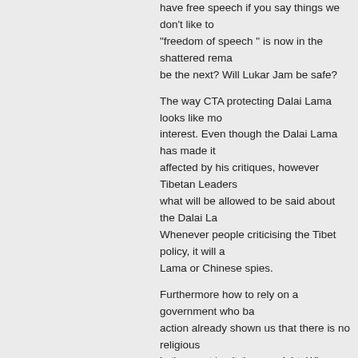have free speech if you say things we don't like to "freedom of speech " is now in the shattered rema be the next? Will Lukar Jam be safe?

The way CTA protecting Dalai Lama looks like mo interest. Even though the Dalai Lama has made it affected by his critiques, however Tibetan Leaders what will be allowed to be said about the Dalai La Whenever people criticising the Tibet policy, it will a Lama or Chinese spies.

Furthermore how to rely on a government who ba action already shown us that there is no religious is the most basic human right. Who want the gove the basic human right?
Reply
Dennis Low
April 4, 2017
In the history, not even a single country can be suc for their political gain. It is one of the most foolish as an excuses to expel someone who is highly edu contributor to the country development, it is really kick out due to their narrow and shallow mind, wh such discrimin mind, how can they develop...